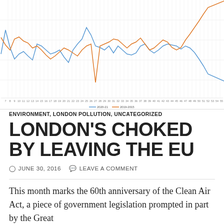[Figure (line-chart): ]
ENVIRONMENT, LONDON POLLUTION, UNCATEGORIZED
LONDON'S CHOKED BY LEAVING THE EU
JUNE 30, 2016   LEAVE A COMMENT
This month marks the 60th anniversary of the Clean Air Act, a piece of government legislation prompted in part by the Great